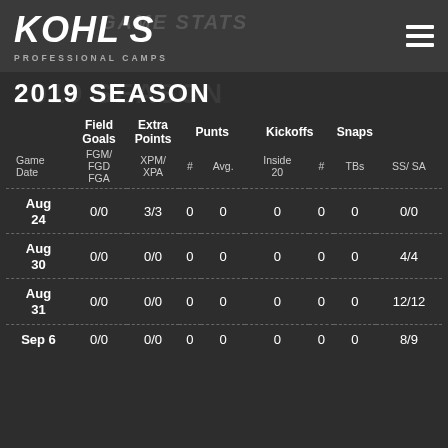KOHL'S PROFESSIONAL CAMPS — WEEKLY GAME STATS
2019 SEASON
| Game Date | FGM/ FGD FGA | XPM/ XPA | # Avg. | Inside 20 | # | TBs | SS/ SA |
| --- | --- | --- | --- | --- | --- | --- | --- |
| Aug 24 | 0/0 | 3/3 | 0 | 0 | 0 | 0 | 0 | 0/0 |
| Aug 30 | 0/0 | 0/0 | 0 | 0 | 0 | 0 | 0 | 4/4 |
| Aug 31 | 0/0 | 0/0 | 0 | 0 | 0 | 0 | 0 | 12/12 |
| Sep 6 | 0/0 | 0/0 | 0 | 0 | 0 | 0 | 0 | 8/9 |